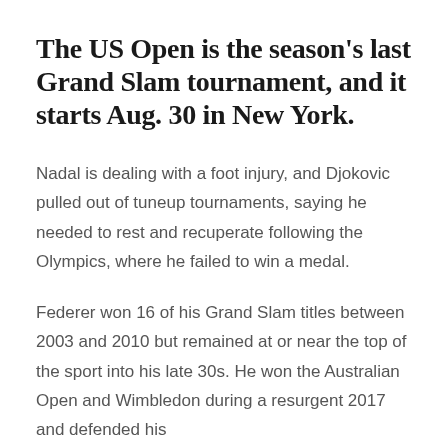The US Open is the season's last Grand Slam tournament, and it starts Aug. 30 in New York.
Nadal is dealing with a foot injury, and Djokovic pulled out of tuneup tournaments, saying he needed to rest and recuperate following the Olympics, where he failed to win a medal.
Federer won 16 of his Grand Slam titles between 2003 and 2010 but remained at or near the top of the sport into his late 30s. He won the Australian Open and Wimbledon during a resurgent 2017 and defended his